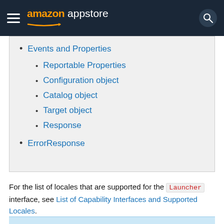amazon appstore
Events and Properties
Reportable Properties
Configuration object
Catalog object
Target object
Response
ErrorResponse
For the list of locales that are supported for the Launcher interface, see List of Capability Interfaces and Supported Locales.